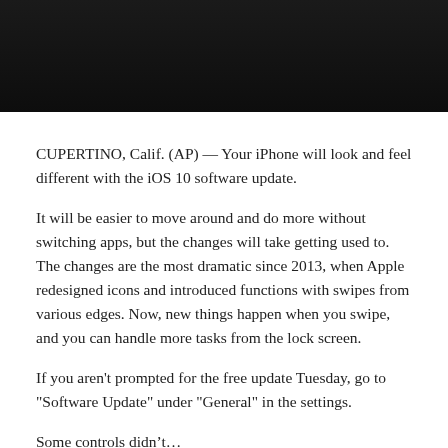[Figure (photo): Dark/black photo at top of page, partially cropped, showing the top portion of what appears to be an iPhone or Apple device.]
CUPERTINO, Calif. (AP) — Your iPhone will look and feel different with the iOS 10 software update.
It will be easier to move around and do more without switching apps, but the changes will take getting used to. The changes are the most dramatic since 2013, when Apple redesigned icons and introduced functions with swipes from various edges. Now, new things happen when you swipe, and you can handle more tasks from the lock screen.
If you aren't prompted for the free update Tuesday, go to "Software Update" under "General" in the settings.
Some controls didn't...